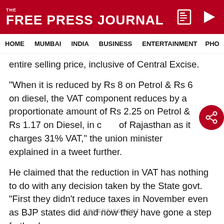THE FREE PRESS JOURNAL
HOME  MUMBAI  INDIA  BUSINESS  ENTERTAINMENT  PHO
entire selling price, inclusive of Central Excise.
"When it is reduced by Rs 8 on Petrol & Rs 6 on diesel, the VAT component reduces by a proportionate amount of Rs 2.25 on Petrol & Rs 1.17 on Diesel, in case of Rajasthan as it charges 31% VAT," the union minister explained in a tweet further.
He claimed that the reduction in VAT has nothing to do with any decision taken by the State govt. "First they didn't reduce taxes in November even as BJP states did and now they have gone a step further by
ADVERTISEMENT